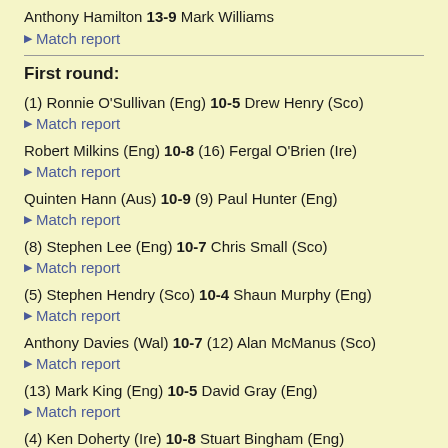Anthony Hamilton 13-9 Mark Williams
Match report
First round:
(1) Ronnie O'Sullivan (Eng) 10-5 Drew Henry (Sco)
Match report
Robert Milkins (Eng) 10-8 (16) Fergal O'Brien (Ire)
Match report
Quinten Hann (Aus) 10-9 (9) Paul Hunter (Eng)
Match report
(8) Stephen Lee (Eng) 10-7 Chris Small (Sco)
Match report
(5) Stephen Hendry (Sco) 10-4 Shaun Murphy (Eng)
Match report
Anthony Davies (Wal) 10-7 (12) Alan McManus (Sco)
Match report
(13) Mark King (Eng) 10-5 David Gray (Eng)
Match report
(4) Ken Doherty (Ire) 10-8 Stuart Bingham (Eng)